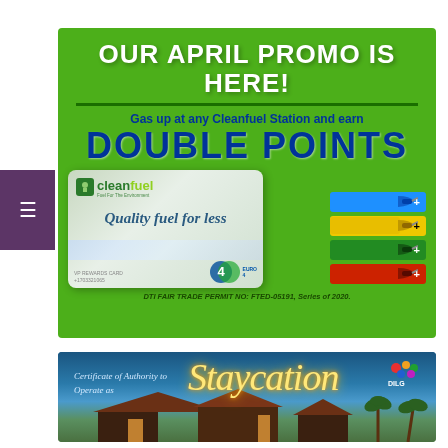[Figure (infographic): Cleanfuel April promo advertisement on green background. Text reads 'OUR APRIL PROMO IS HERE!' then 'Gas up at any Cleanfuel Station and earn DOUBLE POINTS'. Shows a Cleanfuel VIP Rewards Card with 'Quality fuel for less' and Euro 4 logo, plus four colored fuel nozzles (blue, yellow, dark green, red). Bottom text: 'DTI FAIR TRADE PERMIT NO: FTED-05191, Series of 2020.']
[Figure (photo): Certificate of Authority to Operate as Staycation — promotional image with blue sky/resort background, glowing script text 'Staycation' in neon yellow, text 'Certificate of Authority to Operate as' on left, and colorful logo top right.]